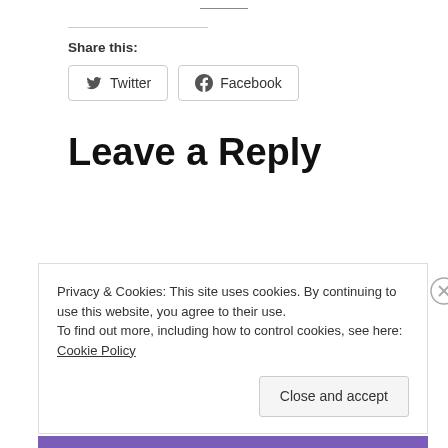Share this:
Twitter
Facebook
Leave a Reply
Privacy & Cookies: This site uses cookies. By continuing to use this website, you agree to their use. To find out more, including how to control cookies, see here: Cookie Policy
Close and accept